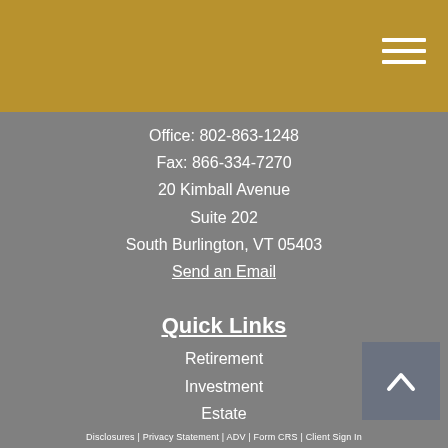Office: 802-863-1248
Fax: 866-334-7270
20 Kimball Avenue
Suite 202
South Burlington, VT 05403
Send an Email
Quick Links
Retirement
Investment
Estate
Insurance
Tax
Money
Lifestyle
All Articles
All Videos
All Calculators
All Presentations
Disclosures | Privacy Statement | ADV | Form CRS | Client Sign In